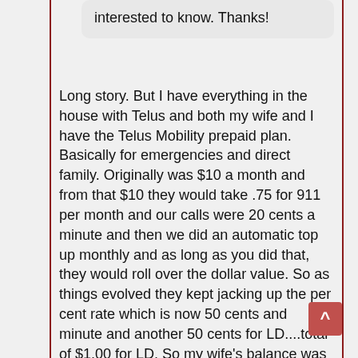interested to know. Thanks!
Long story. But I have everything in the house with Telus and both my wife and I have the Telus Mobility prepaid plan. Basically for emergencies and direct family. Originally was $10 a month and from that $10 they would take .75 for 911 per month and our calls were 20 cents a minute and then we did an automatic top up monthly and as long as you did that, they would roll over the dollar value. So as things evolved they kept jacking up the per cent rate which is now 50 cents and minute and another 50 cents for LD....total of $1.00 for LD. So my wife's balance was over $400 and mine over $250 and some months we did not use it at all. So Telus changed and said you (all...